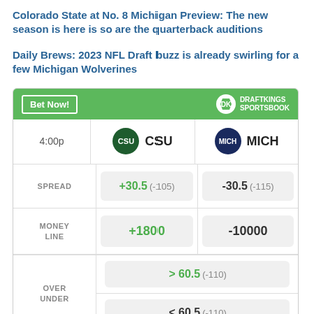Colorado State at No. 8 Michigan Preview: The new season is here is so are the quarterback auditions
Daily Brews: 2023 NFL Draft buzz is already swirling for a few Michigan Wolverines
|  | CSU | MICH |
| --- | --- | --- |
| 4:00p | CSU | MICH |
| SPREAD | +30.5 (-105) | -30.5 (-115) |
| MONEY LINE | +1800 | -10000 |
| OVER UNDER | > 60.5 (-110) | < 60.5 (-110) |
Odds/Lines subject to change. See draftkings.com for details.